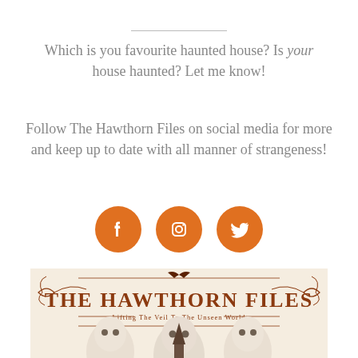Which is you favourite haunted house? Is your house haunted? Let me know!
Follow The Hawthorn Files on social media for more and keep up to date with all manner of strangeness!
[Figure (infographic): Three orange circle social media icons: Facebook, Instagram, Twitter]
[Figure (logo): The Hawthorn Files logo banner — Lifting The Veil To The Unseen World — with decorative gothic scrollwork and bat motif, above ghost and spire illustration]